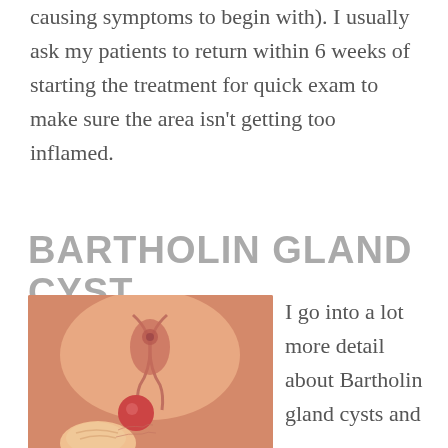causing symptoms to begin with). I usually ask my patients to return within 6 weeks of starting the treatment for quick exam to make sure the area isn't getting too inflamed.
BARTHOLIN GLAND CYST
[Figure (illustration): Medical illustration of Bartholin gland cyst showing anatomical cross-section with a cyst visible, and a finger pressing on it.]
I go into a lot more detail about Bartholin gland cysts and